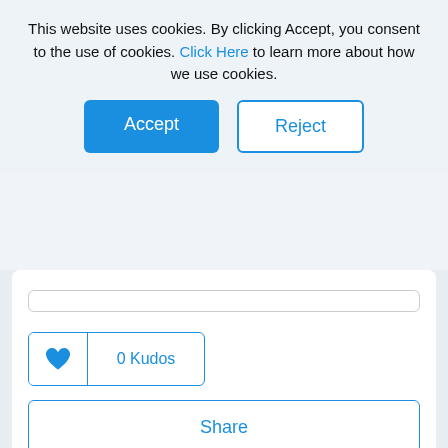This website uses cookies. By clicking Accept, you consent to the use of cookies. Click Here to learn more about how we use cookies.
Accept
Reject
0 Kudos
Share
Reply
dana_canzano